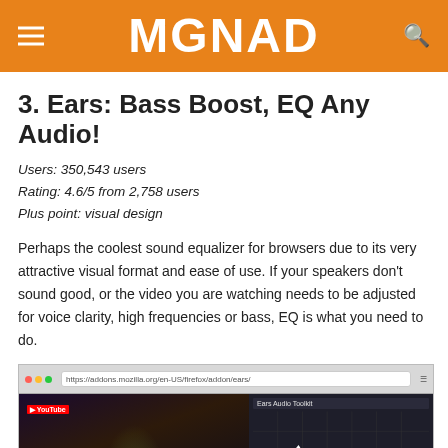MGNAD
3. Ears: Bass Boost, EQ Any Audio!
Users: 350,543 users
Rating: 4.6/5 from 2,758 users
Plus point: visual design
Perhaps the coolest sound equalizer for browsers due to its very attractive visual format and ease of use. If your speakers don't sound good, or the video you are watching needs to be adjusted for voice clarity, high frequencies or bass, EQ is what you need to do.
[Figure (screenshot): Screenshot of a browser window showing a YouTube video of a music performance (performer in green jacket on stage) alongside the Ears Audio Toolkit equalizer panel with a frequency response curve graph.]